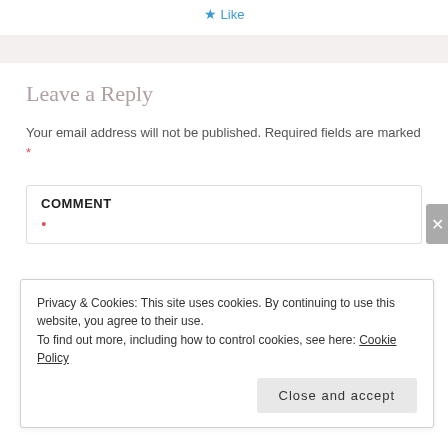[Figure (other): Blue star icon with 'Like' text link at top center]
Leave a Reply
Your email address will not be published. Required fields are marked *
COMMENT •
Privacy & Cookies: This site uses cookies. By continuing to use this website, you agree to their use.
To find out more, including how to control cookies, see here: Cookie Policy
Close and accept